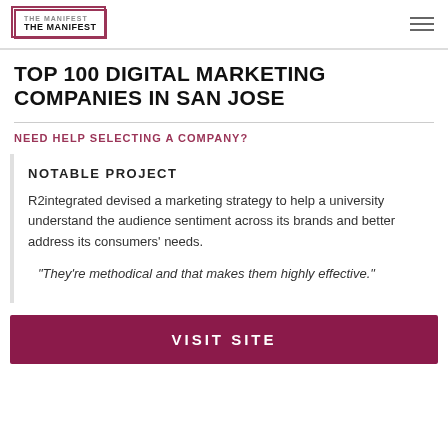THE MANIFEST
TOP 100 DIGITAL MARKETING COMPANIES IN SAN JOSE
NEED HELP SELECTING A COMPANY?
NOTABLE PROJECT
R2integrated devised a marketing strategy to help a university understand the audience sentiment across its brands and better address its consumers' needs.
"They're methodical and that makes them highly effective."
VISIT SITE